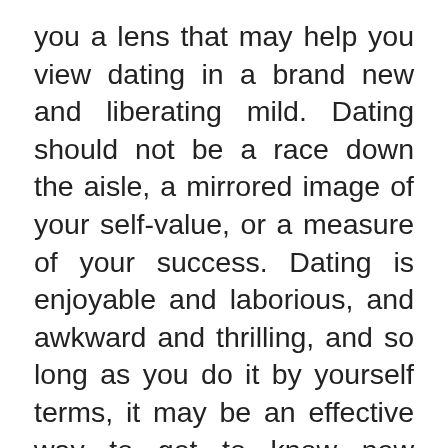you a lens that may help you view dating in a brand new and liberating mild. Dating should not be a race down the aisle, a mirrored image of your self-value, or a measure of your success. Dating is enjoyable and laborious, and awkward and thrilling, and so long as you do it by yourself terms, it may be an effective way to get to know new people and to learn new issues about your self. Applying a feminist approach to dating will help you determine what you actually need, which is the first step to really getting it —